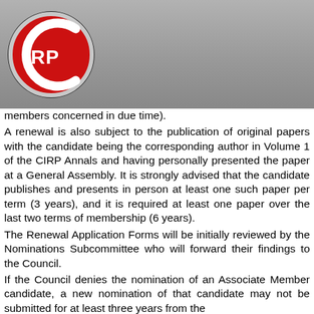[Figure (logo): CIRP logo: red circle with white letter C outline and silver/red IRP text inside, on a grey gradient background]
members concerned in due time).
A renewal is also subject to the publication of original papers with the candidate being the corresponding author in Volume 1 of the CIRP Annals and having personally presented the paper at a General Assembly. It is strongly advised that the candidate publishes and presents in person at least one such paper per term (3 years), and it is required at least one paper over the last two terms of membership (6 years).
The Renewal Application Forms will be initially reviewed by the Nominations Subcommittee who will forward their findings to the Council.
If the Council denies the nomination of an Associate Member candidate, a new nomination of that candidate may not be submitted for at least three years from the